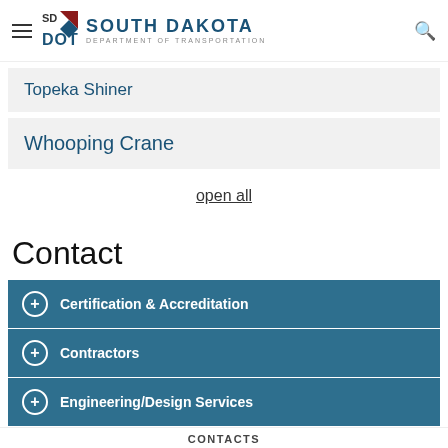SD DOT South Dakota Department of Transportation
Topeka Shiner
Whooping Crane
open all
Contact
+ Certification & Accreditation
+ Contractors
+ Engineering/Design Services
- Environmental
CONTACTS